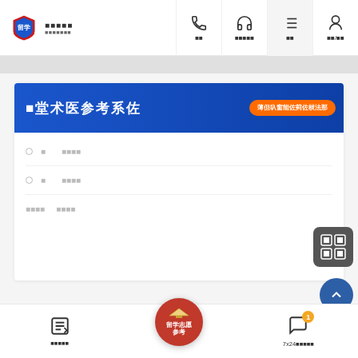留学 ■■■■■ ■■■■■■■
[Figure (screenshot): Navigation bar with phone, headset, list, and profile icons labeled with Chinese characters]
[Figure (screenshot): Blue banner with bold Chinese text '印堂术医参考系佐' and orange button '薄但叺窗能佐菿佐棂法那']
■ ■ ■■■■
■ ■ ■■■■
■■■■ ■■■■
■■■■■ | 留学志愿参考 | 7x24■■■■■